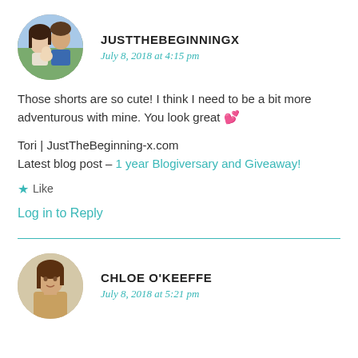[Figure (photo): Circular avatar photo of a couple with a baby, woman with dark hair in foreground, man in blue shirt behind her]
JUSTTHEBEGINNINGX
July 8, 2018 at 4:15 pm
Those shorts are so cute! I think I need to be a bit more adventurous with mine. You look great 💕
Tori | JustTheBeginning-x.com
Latest blog post – 1 year Blogiversary and Giveaway!
★ Like
Log in to Reply
[Figure (photo): Circular avatar photo of a woman (Chloe O'Keeffe), seated, with light background]
CHLOE O'KEEFFE
July 8, 2018 at 5:21 pm